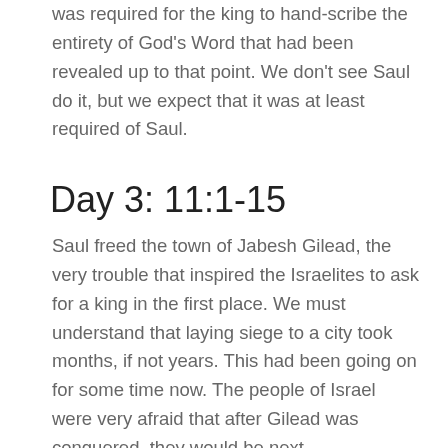was required for the king to hand-scribe the entirety of God's Word that had been revealed up to that point. We don't see Saul do it, but we expect that it was at least required of Saul.
Day 3: 11:1-15
Saul freed the town of Jabesh Gilead, the very trouble that inspired the Israelites to ask for a king in the first place. We must understand that laying siege to a city took months, if not years. This had been going on for some time now. The people of Israel were very afraid that after Gilead was conquered, they would be next.